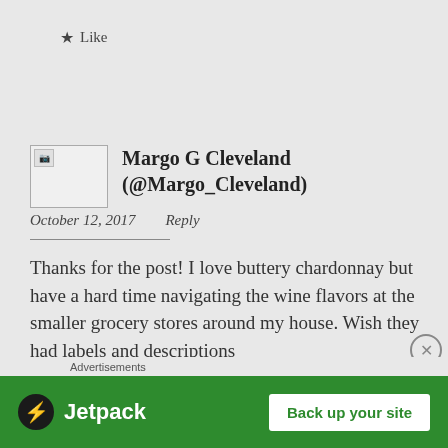★ Like
Margo G Cleveland (@Margo_Cleveland)
October 12, 2017   Reply
Thanks for the post! I love buttery chardonnay but have a hard time navigating the wine flavors at the smaller grocery stores around my house. Wish they had labels and descriptions like...
Advertisements
[Figure (screenshot): Jetpack advertisement banner with green background, Jetpack logo on the left, and 'Back up your site' button on the right]